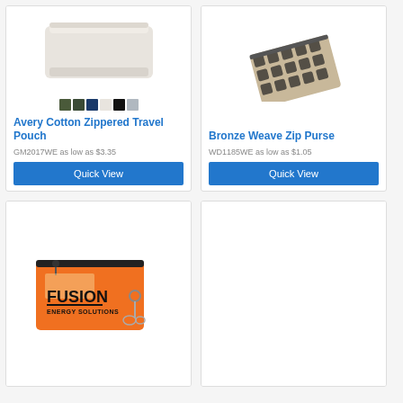[Figure (photo): Avery Cotton Zippered Travel Pouch product image showing a beige/natural colored pouch with color swatches below]
Avery Cotton Zippered Travel Pouch
GM2017WE as low as $3.35
Quick View
[Figure (photo): Bronze Weave Zip Purse product image showing a patterned zippered purse with geometric diamond weave pattern]
Bronze Weave Zip Purse
WD1185WE as low as $1.05
Quick View
[Figure (photo): Orange zippered pouch with Fusion Energy Solutions logo and keys attached]
[Figure (photo): Product card with Quick Ship badge, image area empty/loading]